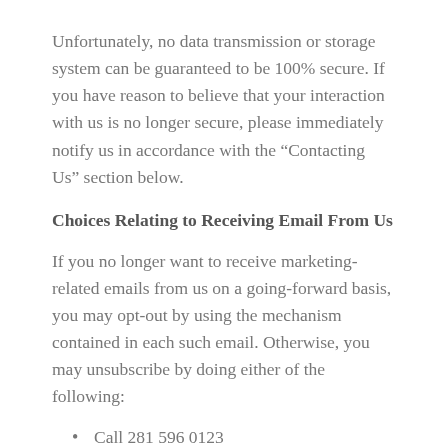Unfortunately, no data transmission or storage system can be guaranteed to be 100% secure. If you have reason to believe that your interaction with us is no longer secure, please immediately notify us in accordance with the “Contacting Us” section below.
Choices Relating to Receiving Email From Us
If you no longer want to receive marketing-related emails from us on a going-forward basis, you may opt-out by using the mechanism contained in each such email. Otherwise, you may unsubscribe by doing either of the following:
Call 281 596 0123
Send us an email at